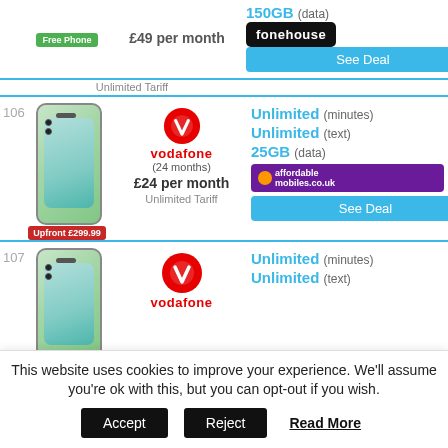Free Phone | £49 per month | 150GB (data) | Unlimited Tariff | fonehouse | See Deal
106 | Vodafone | (24 months) | £24 per month | Unlimited (minutes) | Unlimited (text) | 25GB (data) | Upfront £299.99 | Unlimited Tariff | affordable mobiles.co.uk | See Deal
107 | Vodafone | Unlimited (minutes) | Unlimited (text)
This website uses cookies to improve your experience. We'll assume you're ok with this, but you can opt-out if you wish. Accept | Reject | Read More